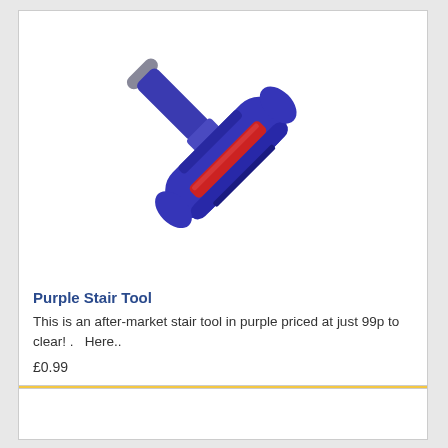[Figure (photo): Purple vacuum cleaner stair tool attachment, a T-shaped purple plastic tool with a red strip on the head, shown at an angle on white background]
Purple Stair Tool
This is an after-market stair tool in purple priced at just 99p to clear! .   Here..
£0.99
👁 More Information